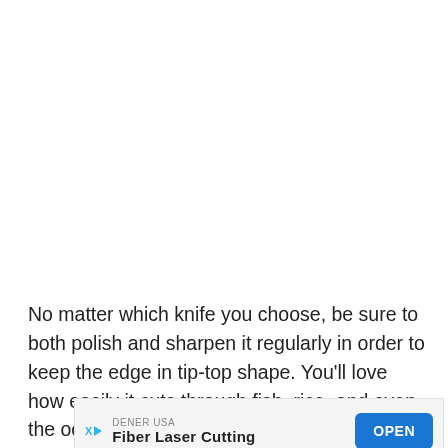No matter which knife you choose, be sure to both polish and sharpen it regularly in order to keep the edge in tip-top shape. You'll love how easily it cuts through fish, rice, and even the occasional vegetable.
[Figure (other): Advertisement banner for DENER USA Fiber Laser Cutting with an OPEN button]